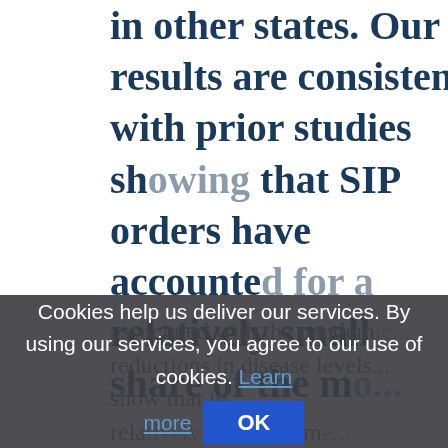in other states. Our results are consistent with prior studies showing that SIP orders have accounted for a relatively small share of the mo...
...associated with the pandemic... reductions in disease levels... show that in... relatively... do not...
[Figure (screenshot): Cookie consent overlay popup with dark semi-transparent background. Text reads: 'Cookies help us deliver our services. By using our services, you agree to our use of cookies. Learn more' with a blue 'Learn more' link and a blue 'OK' button.]